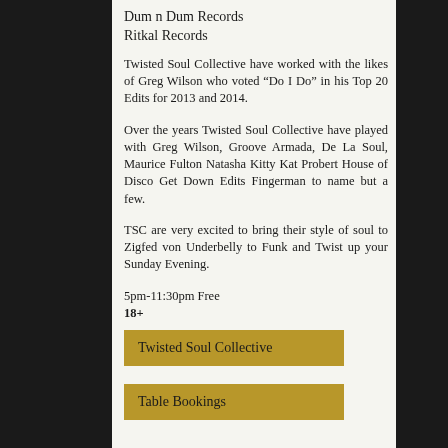Dum n Dum Records
Ritkal Records
Twisted Soul Collective have worked with the likes of Greg Wilson who voted “Do I Do” in his Top 20 Edits for 2013 and 2014.
Over the years Twisted Soul Collective have played with Greg Wilson, Groove Armada, De La Soul, Maurice Fulton Natasha Kitty Kat Probert House of Disco Get Down Edits Fingerman to name but a few.
TSC are very excited to bring their style of soul to Zigfed von Underbelly to Funk and Twist up your Sunday Evening.
5pm-11:30pm Free
18+
Twisted Soul Collective
Table Bookings